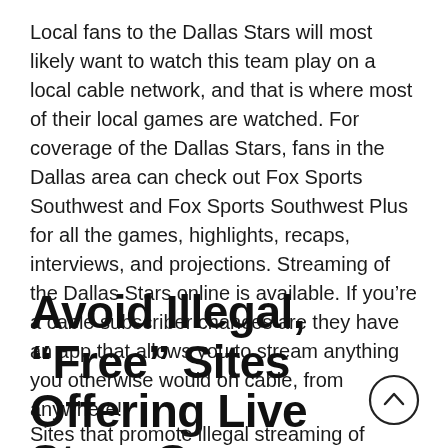Local fans to the Dallas Stars will most likely want to watch this team play on a local cable network, and that is where most of their local games are watched. For coverage of the Dallas Stars, fans in the Dallas area can check out Fox Sports Southwest and Fox Sports Southwest Plus for all the games, highlights, recaps, interviews, and projections. Streaming of the Dallas Stars online is available. If you're a cable subscriber chances are they have an app that allows you to stream anything you otherwise would on cable, from anywhere!
Avoid Illegal, “Free” Sites Offering Live Stars Game
Sites that promote illegal streaming of Dallas Stars games